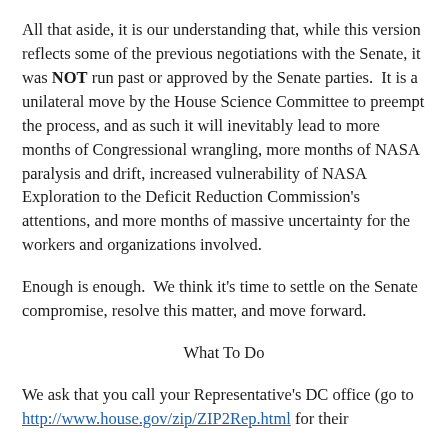All that aside, it is our understanding that, while this version reflects some of the previous negotiations with the Senate, it was NOT run past or approved by the Senate parties.  It is a unilateral move by the House Science Committee to preempt the process, and as such it will inevitably lead to more months of Congressional wrangling, more months of NASA paralysis and drift, increased vulnerability of NASA Exploration to the Deficit Reduction Commission's attentions, and more months of massive uncertainty for the workers and organizations involved.
Enough is enough.  We think it's time to settle on the Senate compromise, resolve this matter, and move forward.
What To Do
We ask that you call your Representative's DC office (go to http://www.house.gov/zip/ZIP2Rep.html for their